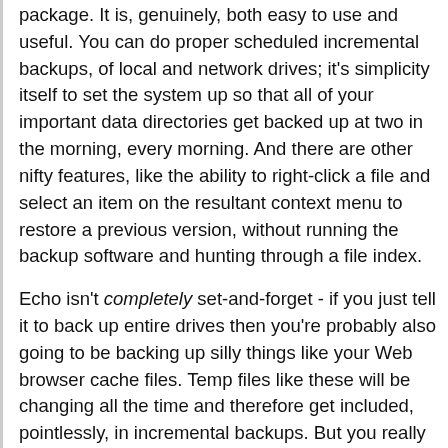package. It is, genuinely, both easy to use and useful. You can do proper scheduled incremental backups, of local and network drives; it's simplicity itself to set the system up so that all of your important data directories get backed up at two in the morning, every morning. And there are other nifty features, like the ability to right-click a file and select an item on the resultant context menu to restore a previous version, without running the backup software and hunting through a file index.
Echo isn't completely set-and-forget - if you just tell it to back up entire drives then you're probably also going to be backing up silly things like your Web browser cache files. Temp files like these will be changing all the time and therefore get included, pointlessly, in incremental backups. But you really can use Echo properly without reading the manual, if you've any familiarity with backup software at all.